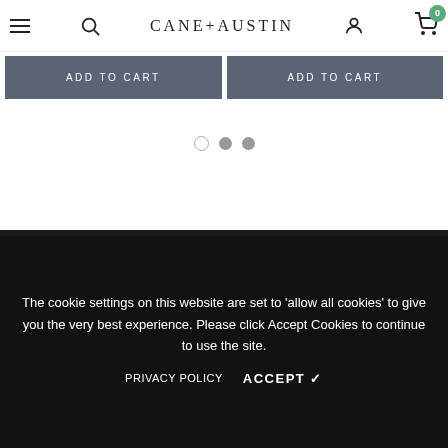CANE+AUSTIN — navigation header with menu, search, logo, account, cart (0)
ADD TO CART (button 1)
ADD TO CART (button 2)
[Figure (other): Pagination dots: one empty circle, one filled gray circle, one filled gray circle]
SKIN TREATMENT, MY CANE + AUSTIN, CUSTOMER CARE — footer navigation links on dark background
The cookie settings on this website are set to 'allow all cookies' to give you the very best experience. Please click Accept Cookies to continue to use the site.
PRIVACY POLICY   ACCEPT ✓